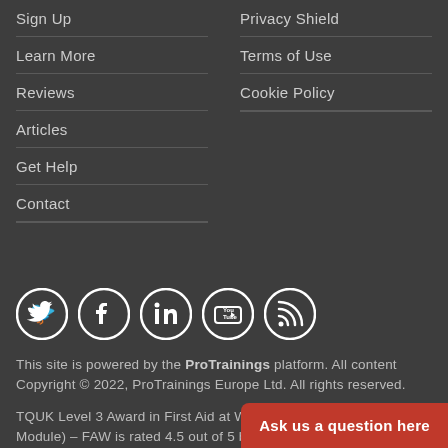Sign Up
Learn More
Reviews
Articles
Get Help
Contact
Privacy Shield
Terms of Use
Cookie Policy
[Figure (illustration): Social media icons: Twitter, Facebook, LinkedIn, YouTube, RSS feed]
This site is powered by the ProTrainings platform. All content Copyright © 2022, ProTrainings Europe Ltd. All rights reserved.
TQUK Level 3 Award in First Aid at Work (Online Blended Learning Module) – FAW is rated 4.5 out of 5 based on 10 ratings.
Ask us a question here